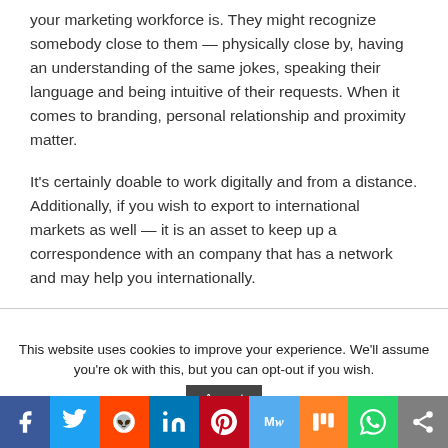your marketing workforce is. They might recognize somebody close to them — physically close by, having an understanding of the same jokes, speaking their language and being intuitive of their requests. When it comes to branding, personal relationship and proximity matter.
It's certainly doable to work digitally and from a distance. Additionally, if you wish to export to international markets as well — it is an asset to keep up a correspondence with an company that has a network and may help you internationally.
This website uses cookies to improve your experience. We'll assume you're ok with this, but you can opt-out if you wish.
[Figure (other): Social sharing bar with icons for Facebook, Twitter, Reddit, LinkedIn, Pinterest, Mix, MeWe, WhatsApp, and a share button]